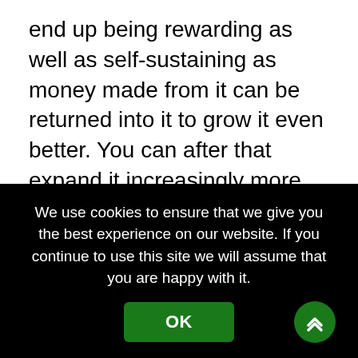end up being rewarding as well as self-sustaining as money made from it can be returned into it to grow it even better. You can after that expand it increasingly more depending upon your wishes.
We use cookies to ensure that we give you the best experience on our website. If you continue to use this site we will assume that you are happy with it.